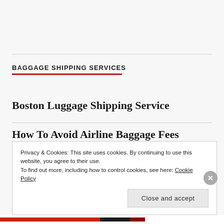BAGGAGE SHIPPING SERVICES
Boston Luggage Shipping Service
How To Avoid Airline Baggage Fees
Luggage Shipping Service In Boston MA
Privacy & Cookies: This site uses cookies. By continuing to use this website, you agree to their use.
To find out more, including how to control cookies, see here: Cookie Policy
Close and accept